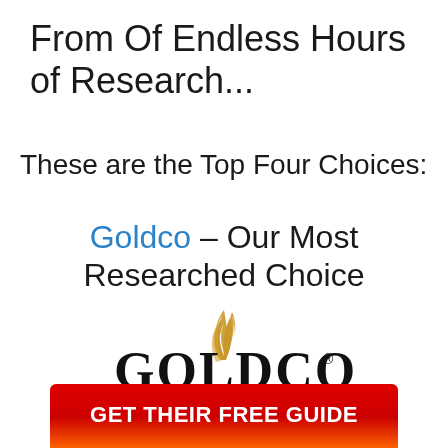From Of Endless Hours of Research...
These are the Top Four Choices:
Goldco – Our Most Researched Choice
[Figure (logo): Goldco logo with golden flame swirl above the GOLDCO wordmark in large serif letters with a registered trademark symbol]
GET THEIR FREE GUIDE